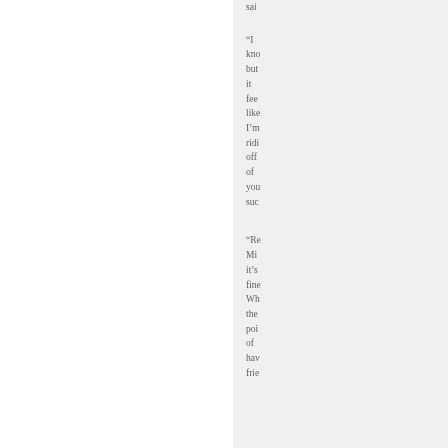sai
“I kno but it fee like I’m ridi off of you suc
“Re Mi it’s fine Wh the poi of hav frie